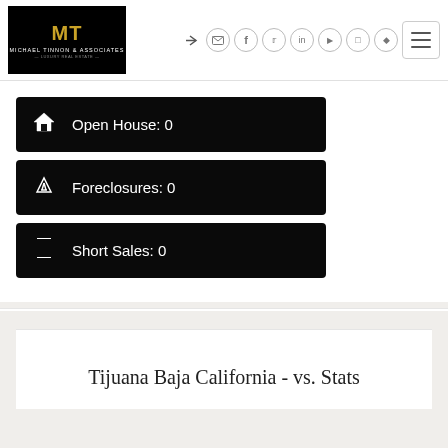[Figure (logo): Michael Tinnon & Associates luxury real estate logo on black background with gold MT monogram]
Open House: 0
Foreclosures: 0
Short Sales: 0
Tijuana Baja California - vs. Stats